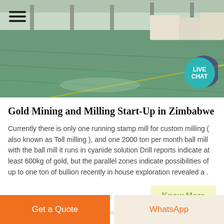[Figure (photo): Warehouse or industrial facility interior with green-tinted epoxy floor and white bulk bags in the background.]
Gold Mining and Milling Start-Up in Zimbabwe
Currently there is only one running stamp mill for custom milling ( also known as Toll milling ), and one 2000 ton per month ball mill with the ball mill it runs in cyanide solution Drill reports indicate at least 600kg of gold, but the parallel zones indicate possibilities of up to one ton of bullion recently in house exploration revealed a .
Know More
Get a Quote
WhatsApp